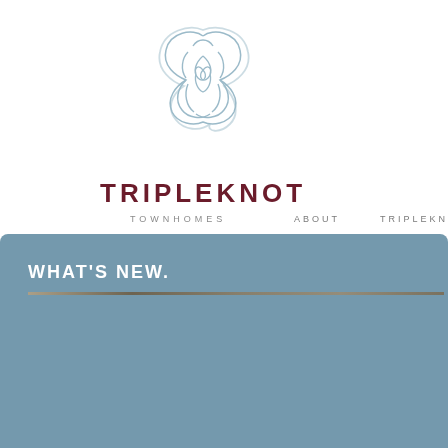[Figure (logo): Tripleknot triquetra Celtic knot logo in light steel blue outline style, triangular interlaced knot design]
TRIPLEKNOT
TOWNHOMES
ABOUT
TRIPLEKNOT LIVING
WHAT'S NEW.